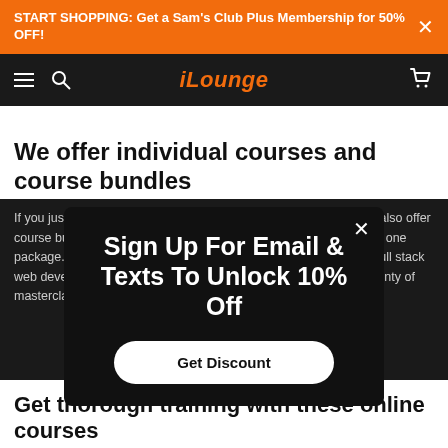START SHOPPING: Get a Sam's Club Plus Membership for 50% OFF!
[Figure (screenshot): iLounge website navigation bar with hamburger menu, search icon, iLounge logo in orange, and cart icon]
We offer individual courses and course bundles
If you just need a quick online course, we've got you covered. We also offer course bundles that combine multiple courses or course levels into one package. We have bundles for programming, marketing bundles, full stack web development bundles, JavaScript and jQuery bundles, and plenty of masterclass courses.
Sign Up For Email & Texts To Unlock 10% Off
Get Discount
Get thorough training with these online courses